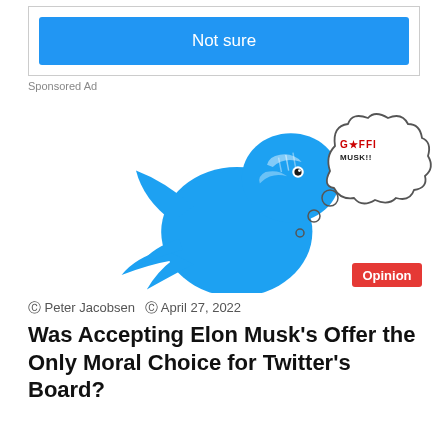[Figure (screenshot): Blue 'Not sure' button, part of a sponsored ad widget]
Sponsored Ad
[Figure (illustration): Twitter bird logo (blue) with a thought bubble containing a graffiti-style logo/text above it, and an Opinion tag in red bottom right]
Peter Jacobsen  April 27, 2022
Was Accepting Elon Musk's Offer the Only Moral Choice for Twitter's Board?